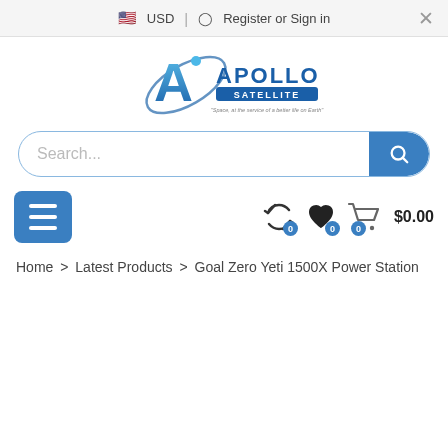USD | Register or Sign in
[Figure (logo): Apollo Satellite logo with stylized A and orbit shape, tagline: Space, at the service of a better life on Earth]
Search...
[Figure (infographic): Navigation row with hamburger menu button, refresh/compare icon with badge 0, heart/wishlist icon with badge 0, shopping cart icon with badge 0 and price $0.00]
Home > Latest Products > Goal Zero Yeti 1500X Power Station